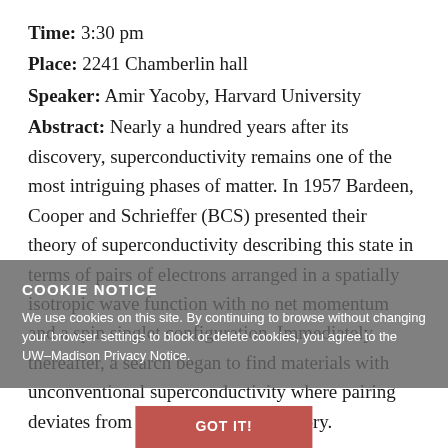Time: 3:30 pm
Place: 2241 Chamberlin hall
Speaker: Amir Yacoby, Harvard University
Abstract: Nearly a hundred years after its discovery, superconductivity remains one of the most intriguing phases of matter. In 1957 Bardeen, Cooper and Schrieffer (BCS) presented their theory of superconductivity describing this state in terms of pairs of electrons arranged in a spatially isotropic wave function with no net momentum and a spin singlet configuration. Immediately thereafter, a search began to find materials with unconventional superconductivity where pairing deviates from conventional BCS theory.